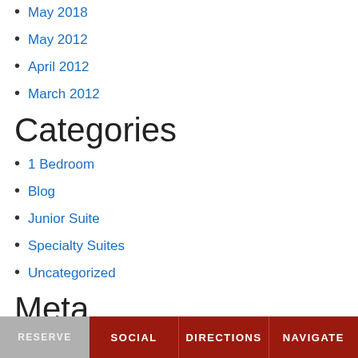May 2018
May 2012
April 2012
March 2012
Categories
1 Bedroom
Blog
Junior Suite
Specialty Suites
Uncategorized
Meta
Log in
Entries feed
Comments feed
RESERVE  SOCIAL  DIRECTIONS  NAVIGATE